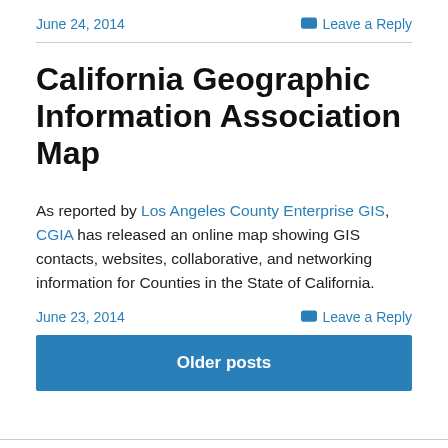June 24, 2014   Leave a Reply
California Geographic Information Association Map
As reported by Los Angeles County Enterprise GIS, CGIA has released an online map showing GIS contacts, websites, collaborative, and networking information for Counties in the State of California.
June 23, 2014   Leave a Reply
Older posts